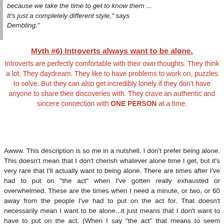because we take the time to get to know them ... It's just a completely different style," says Dembling."
Myth #6) Introverts always want to be alone.
Introverts are perfectly comfortable with their own thoughts. They think a lot. They daydream. They like to have problems to work on, puzzles to solve. But they can also get incredibly lonely if they don't have anyone to share their discoveries with. They crave an authentic and sincere connection with ONE PERSON at a time.
Awww. This description is so me in a nutshell. I don't prefer being alone. This doesn't mean that I don't cherish whatever alone time I get, but it's very rare that I'll actually want to being alone. There are times after I've had to put on "the act" when I've gotten really exhausted or overwhelmed. These are the times when I need a minute, or two, or 60 away from the people I've had to put on the act for. That doesn't necessarily mean I want to be alone...it just means that I don't want to have to put on the act. (When I say "the act" that means to seem effortlessly entertaining.)